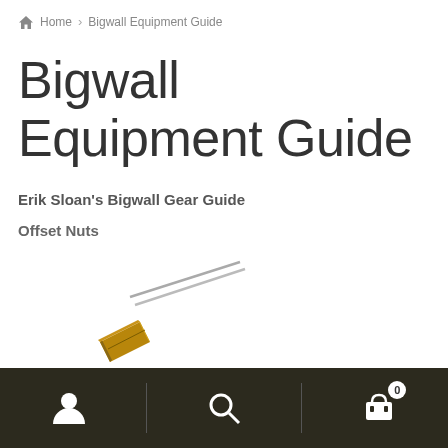Home > Bigwall Equipment Guide
Bigwall Equipment Guide
Erik Sloan's Bigwall Gear Guide
Offset Nuts
[Figure (photo): Photo of an offset nut climbing gear — a small brass/gold wedge nut on two thin wire cables, angled diagonally]
Navigation bar with user account icon, search icon, and shopping cart icon with badge showing 0